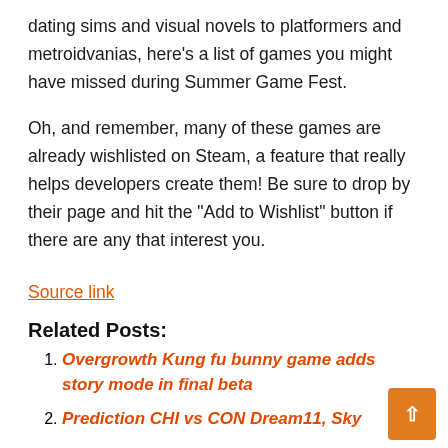dating sims and visual novels to platformers and metroidvanias, here's a list of games you might have missed during Summer Game Fest.
Oh, and remember, many of these games are already wishlisted on Steam, a feature that really helps developers create them! Be sure to drop by their page and hit the “Add to Wishlist” button if there are any that interest you.
Source link
Related Posts:
Overgrowth Kung fu bunny game adds story mode in final beta
Prediction CHI vs CON Dream11, Sky